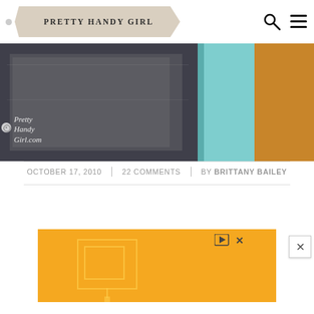Pretty Handy Girl
[Figure (photo): Close-up photo of a teal/aqua painted cabinet door or furniture piece next to dark shelving with papers]
OCTOBER 17, 2010 | 22 COMMENTS | BY BRITTANY BAILEY
[Figure (infographic): Yellow/orange advertisement banner with geometric square graphic and media icons]